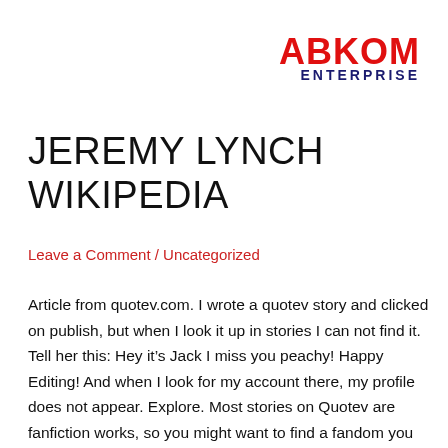[Figure (logo): ABKOM ENTERPRISE logo — ABKOM in bold red, ENTERPRISE in bold navy blue]
JEREMY LYNCH WIKIPEDIA
Leave a Comment / Uncategorized
Article from quotev.com. I wrote a quotev story and clicked on publish, but when I look it up in stories I can not find it. Tell her this: Hey itâs Jack I miss you peachy! Happy Editing! And when I look for my account there, my profile does not appear. Explore. Most stories on Quotev are fanfiction works, so you might want to find a fandom you have read and feel comfortable writing for. The proxy issues everyone else has been having has allowed Quotev to load, and they only getting issues when they go to log